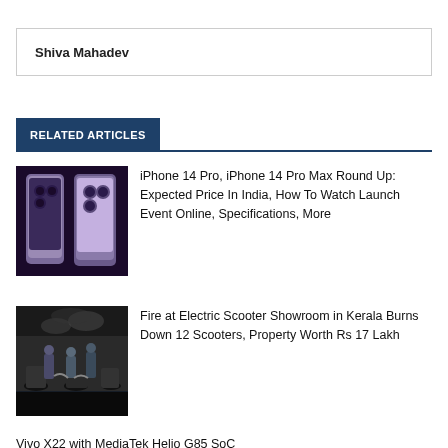Shiva Mahadev
RELATED ARTICLES
[Figure (photo): Two purple iPhone 14 Pro phones side by side against dark background]
iPhone 14 Pro, iPhone 14 Pro Max Round Up: Expected Price In India, How To Watch Launch Event Online, Specifications, More
[Figure (photo): Firefighters working at an electric scooter showroom fire scene at night]
Fire at Electric Scooter Showroom in Kerala Burns Down 12 Scooters, Property Worth Rs 17 Lakh
Vivo X22 with MediaTek Helio G85 SoC...